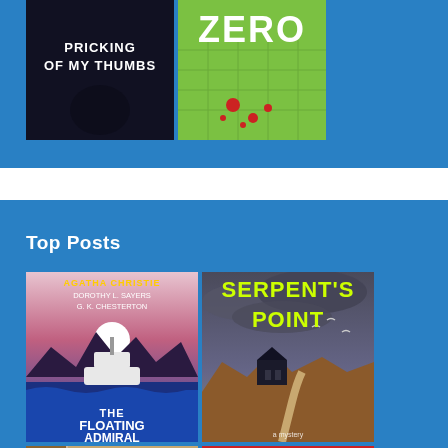[Figure (photo): Top partial blue section with two book covers: 'By The Pricking of My Thumbs' (dark cover) and a green 'Zero' book cover]
Top Posts
[Figure (photo): Book cover: The Floating Admiral by Agatha Christie, Dorothy L. Sayers, G. K. Chesterton]
[Figure (photo): Book cover: Serpent's Point]
[Figure (photo): Book cover: Of Jezebel (partial)]
[Figure (photo): Book cover: Murder (partial)]